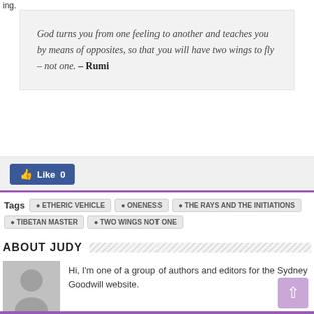ing.
God turns you from one feeling to another and teaches you by means of opposites, so that you will have two wings to fly – not one. – Rumi
[Figure (other): Facebook Like button showing 0 likes]
Tags  • ETHERIC VEHICLE  • ONENESS  • THE RAYS AND THE INITIATIONS  • TIBETAN MASTER  • TWO WINGS NOT ONE
ABOUT JUDY
[Figure (photo): Default gray avatar silhouette placeholder image]
Hi, I'm one of a group of authors and editors for the Sydney Goodwill website.